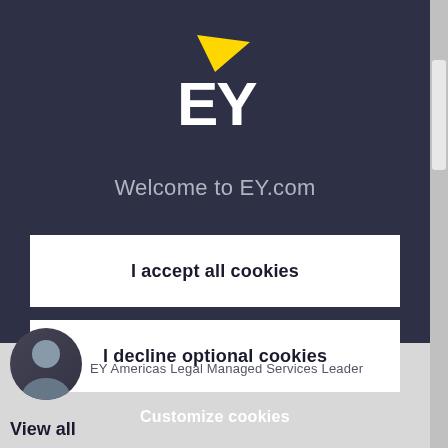[Figure (logo): EY logo with yellow swoosh above white EY letters on dark background]
Welcome to EY.com
I accept all cookies
I decline optional cookies
Customize cookies
EY Americas Legal Managed Services Leader
View all